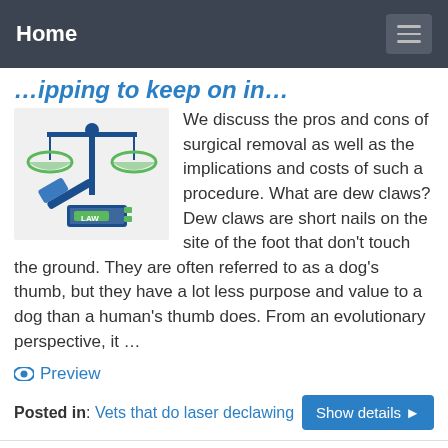Home
…ipping to keep on in…
[Figure (illustration): Illustration of blue scales of justice with a green gavel and a blue book labeled LAW on a light grey background]
We discuss the pros and cons of surgical removal as well as the implications and costs of such a procedure. What are dew claws? Dew claws are short nails on the site of the foot that don't touch the ground. They are often referred to as a dog's thumb, but they have a lot less purpose and value to a dog than a human's thumb does. From an evolutionary perspective, it …
Preview
Posted in: Vets that do laser declawing
Can You Get A Dog Declawed [Our Honest Dogdorable